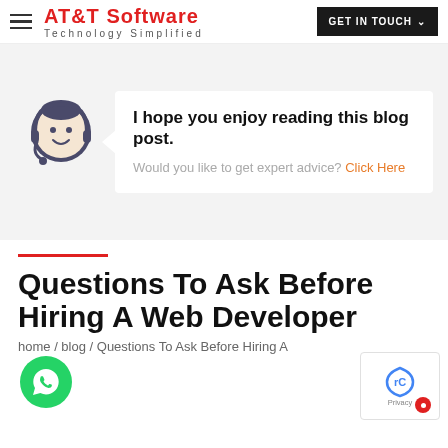AT&T Software — Technology Simplified | GET IN TOUCH
[Figure (illustration): Chat bubble with support avatar and message: I hope you enjoy reading this blog post. Would you like to get expert advice? Click Here]
Questions To Ask Before Hiring A Web Developer
home / blog / Questions To Ask Before Hiring A